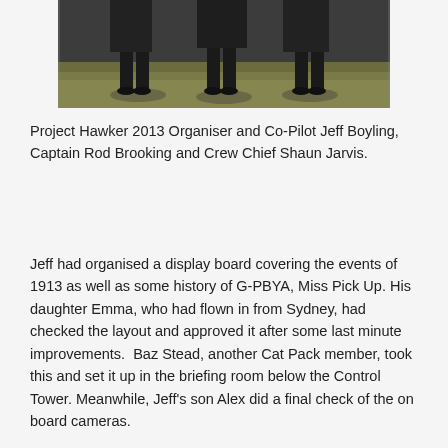[Figure (photo): Three men dressed in black uniforms standing on grass, photographed from the waist down, showing their legs and feet.]
Project Hawker 2013 Organiser and Co-Pilot Jeff Boyling, Captain Rod Brooking and Crew Chief Shaun Jarvis.
Jeff had organised a display board covering the events of 1913 as well as some history of G-PBYA, Miss Pick Up. His daughter Emma, who had flown in from Sydney, had checked the layout and approved it after some last minute improvements.  Baz Stead, another Cat Pack member, took this and set it up in the briefing room below the Control Tower. Meanwhile, Jeff's son Alex did a final check of the on board cameras.